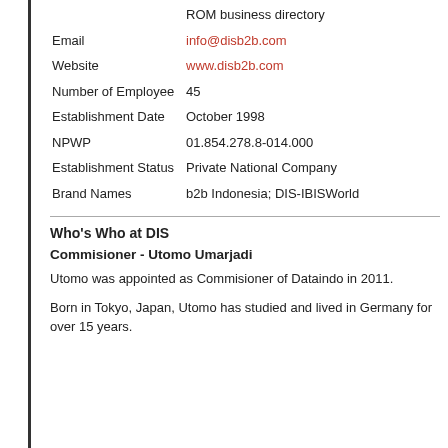| Field | Value |
| --- | --- |
|  | ROM business directory |
| Email | info@disb2b.com |
| Website | www.disb2b.com |
| Number of Employee | 45 |
| Establishment Date | October 1998 |
| NPWP | 01.854.278.8-014.000 |
| Establishment Status | Private National Company |
| Brand Names | b2b Indonesia; DIS-IBISWorld |
Who's Who at DIS
Commisioner - Utomo Umarjadi
Utomo was appointed as Commisioner of Dataindo in 2011.
Born in Tokyo, Japan, Utomo has studied and lived in Germany for over 15 years.